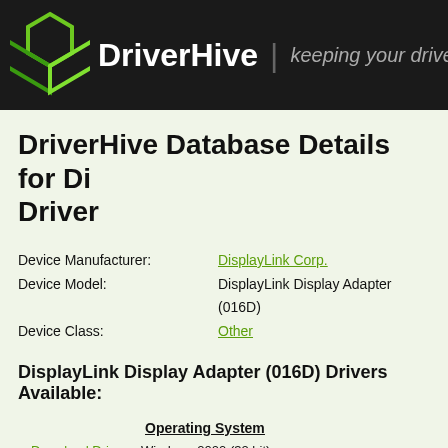DriverHive | keeping your drivers
DriverHive Database Details for DisplayLink Display Adapter (016D) Driver
Device Manufacturer: DisplayLink Corp.
Device Model: DisplayLink Display Adapter (016D)
Device Class: Other
DisplayLink Display Adapter (016D) Drivers Available:
|  | Operating System |
| --- | --- |
| Download Driver | Windows 2000 (32 bit) |
| Download Driver | Windows XP (32 bit) |
| Download Driver | Windows Server 2003 (32 bit) |
| Download Driver | Windows Vista/Windows Server 2008 (32... |
| Download Driver | Windows 7/Windows Server 2008 R2 (32... |
| Download Driver | Windows 8/Windows Server 2012 (32 bit) |
| Download Driver | Windows 8.1/Windows Server 2012 R2 (... |